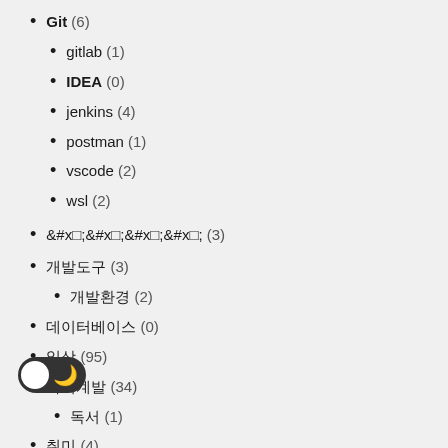Git (6)
gitlab (1)
IDEA (0)
jenkins (4)
postman (1)
vscode (2)
wsl (2)
개발도구 (3)
개발환경 (2)
데이터베이스 (0)
일상 (95)
자기계발 (34)
독서 (1)
취미 (4)
글쓰기 (2)
프로그래밍 (1)
Ad (4)